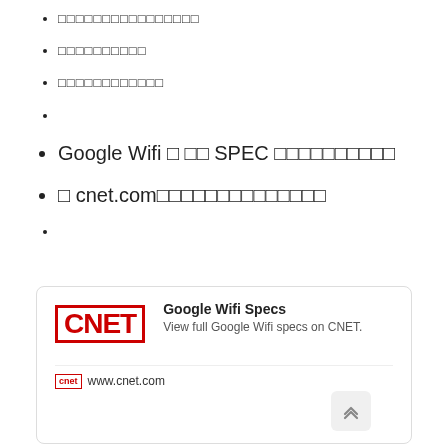□□□□□□□□□□□□□□□□
□□□□□□□□□□
□□□□□□□□□□□□
Google Wifi □ □□ SPEC □□□□□□□□□□
□ cnet.com□□□□□□□□□□□□□□
[Figure (other): CNET card showing Google Wifi Specs with CNET logo, title 'Google Wifi Specs', description 'View full Google Wifi specs on CNET.', and footer with www.cnet.com URL and a scroll-up button]